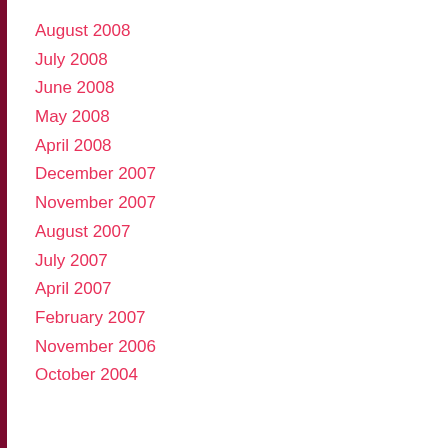August 2008
July 2008
June 2008
May 2008
April 2008
December 2007
November 2007
August 2007
July 2007
April 2007
February 2007
November 2006
October 2004